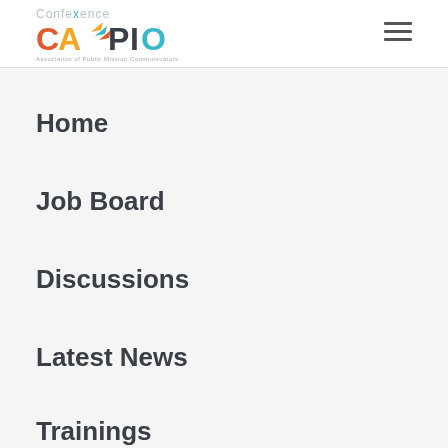Conference CAPIO
Home
Job Board
Discussions
Latest News
Trainings
Contact